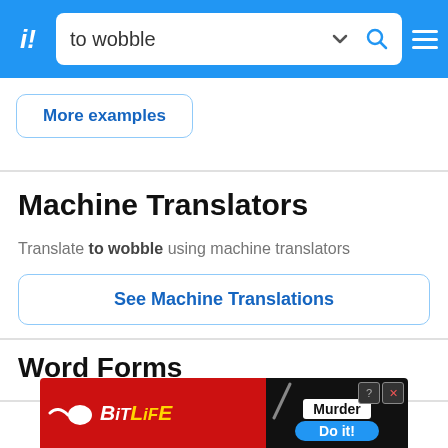to wobble
More examples
Machine Translators
Translate to wobble using machine translators
See Machine Translations
Word Forms
Browse faster in the app!
[Figure (screenshot): BitLife mobile app advertisement banner with red background, white sperm logo, BitLiFE text in white and yellow italic, black section showing Murder text, Do it! blue button, and help/close icons]